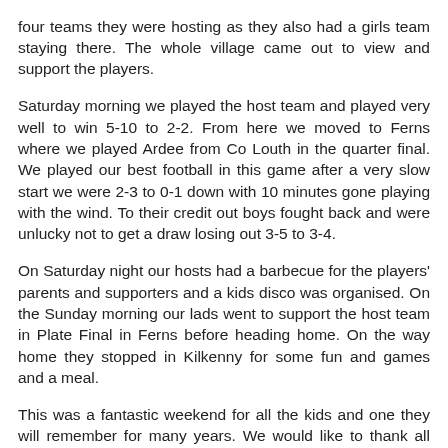four teams they were hosting as they also had a girls team staying there. The whole village came out to view and support the players. Saturday morning we played the host team and played very well to win 5-10 to 2-2. From here we moved to Ferns where we played Ardee from Co Louth in the quarter final. We played our best football in this game after a very slow start we were 2-3 to 0-1 down with 10 minutes gone playing with the wind. To their credit out boys fought back and were unlucky not to get a draw losing out 3-5 to 3-4. On Saturday night our hosts had a barbecue for the players' parents and supporters and a kids disco was organised. On the Sunday morning our lads went to support the host team in Plate Final in Ferns before heading home. On the way home they stopped in Kilkenny for some fun and games and a meal. This was a fantastic weekend for all the kids and one they will remember for many years. We would like to thank all the parents and supporters that travelled all of whom had a great weekend also. A word or appreciation must go to the host club Carnew who put in some effort to ensure a really enjoyable weekend for